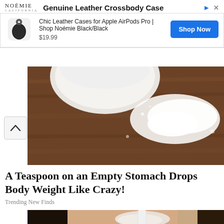[Figure (screenshot): Advertisement banner for Noémie Genuine Leather Crossbody Case showing product image, description, price and Shop Now button]
[Figure (photo): Top-down view of white powder in a bowl and spilled on a wooden surface]
A Teaspoon on an Empty Stomach Drops Body Weight Like Crazy!
Trending New Finds
[Figure (photo): Woman applying white face mask/cream with a spatula to her nose area]